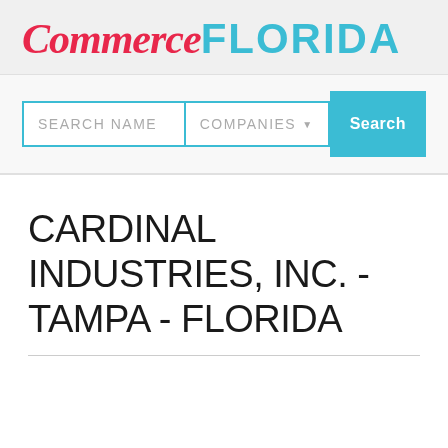[Figure (logo): Commerce FLORIDA logo with 'Commerce' in italic red serif font and 'FLORIDA' in bold cyan sans-serif font]
[Figure (screenshot): Search bar with SEARCH NAME input field, COMPANIES dropdown selector, and Search button in cyan]
CARDINAL INDUSTRIES, INC. - TAMPA - FLORIDA